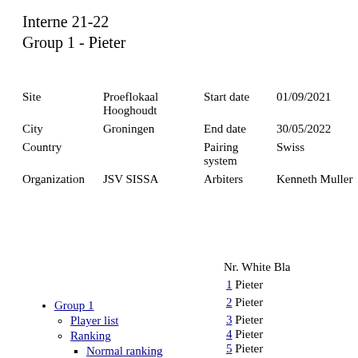Interne 21-22
Group 1 - Pieter
| Site | Proeflokaal Hooghoudt | Start date | 01/09/2021 |
| City | Groningen | End date | 30/05/2022 |
| Country |  | Pairing system | Swiss |
| Organization | JSV SISSA | Arbiters | Kenneth Muller |
Nr. White Bla
1 Pieter
2 Pieter
3 Pieter
4 Pieter
5 Pieter
Group 1
Player list
Ranking
Normal ranking
Category rankings